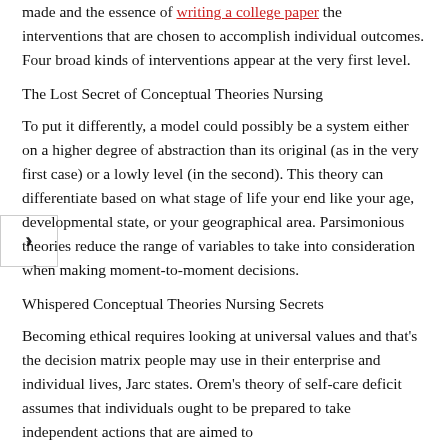made and the essence of writing a college paper the interventions that are chosen to accomplish individual outcomes. Four broad kinds of interventions appear at the very first level.
The Lost Secret of Conceptual Theories Nursing
To put it differently, a model could possibly be a system either on a higher degree of abstraction than its original (as in the very first case) or a lowly level (in the second). This theory can differentiate based on what stage of life your end like your age, developmental state, or your geographical area. Parsimonious theories reduce the range of variables to take into consideration when making moment-to-moment decisions.
Whispered Conceptual Theories Nursing Secrets
Becoming ethical requires looking at universal values and that's the decision matrix people may use in their enterprise and individual lives, Jarc states. Orem's theory of self-care deficit assumes that individuals ought to be prepared to take independent actions that are aimed to